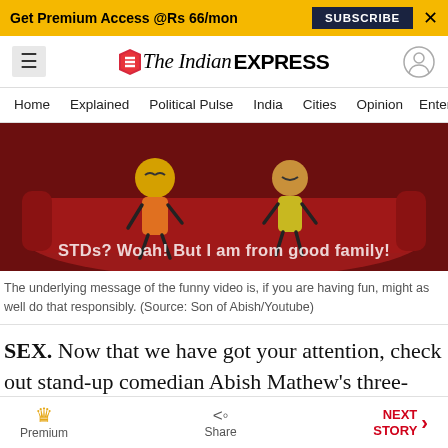Get Premium Access @Rs 66/mon  SUBSCRIBE  ×
The Indian EXPRESS — Home  Explained  Political Pulse  India  Cities  Opinion  Entertainment
[Figure (illustration): Cartoon illustration of two stick figures on a red sofa with text overlay: STDs? Woah! But I am from good family!]
The underlying message of the funny video is, if you are having fun, might as well do that responsibly. (Source: Son of Abish/Youtube)
SEX. Now that we have got your attention, check out stand-up comedian Abish Mathew's three-minute video on sexual health. The stigma around
Premium   Share   NEXT STORY →